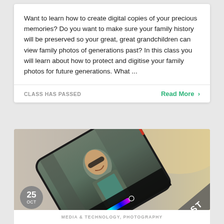Want to learn how to create digital copies of your precious memories? Do you want to make sure your family history will be preserved so your great, great grandchildren can view family photos of generations past? In this class you will learn about how to protect and digitise your family photos for future generations. What ...
CLASS HAS PASSED
Read More ›
[Figure (photo): A smartphone displaying a photo editing app with a man's portrait on screen, angled diagonally on a light background. A 'PAST' banner overlays the lower-right corner. A date badge showing '25 OCT' appears at the bottom left. Category text 'MEDIA & TECHNOLOGY, PHOTOGRAPHY' appears at the bottom.]
MEDIA & TECHNOLOGY, PHOTOGRAPHY